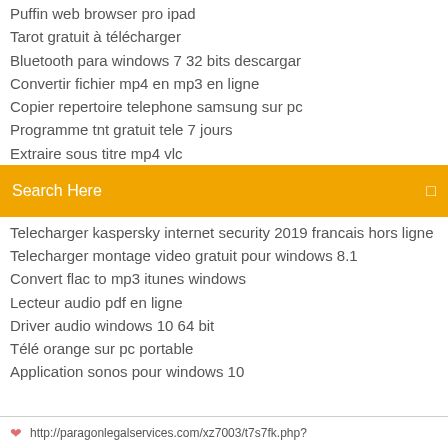Puffin web browser pro ipad
Tarot gratuit à télécharger
Bluetooth para windows 7 32 bits descargar
Convertir fichier mp4 en mp3 en ligne
Copier repertoire telephone samsung sur pc
Programme tnt gratuit tele 7 jours
Extraire sous titre mp4 vlc
Search Here
Telecharger kaspersky internet security 2019 francais hors ligne
Telecharger montage video gratuit pour windows 8.1
Convert flac to mp3 itunes windows
Lecteur audio pdf en ligne
Driver audio windows 10 64 bit
Télé orange sur pc portable
Application sonos pour windows 10
http://paragonlegalservices.com/xz7003/t7s7fk.php?